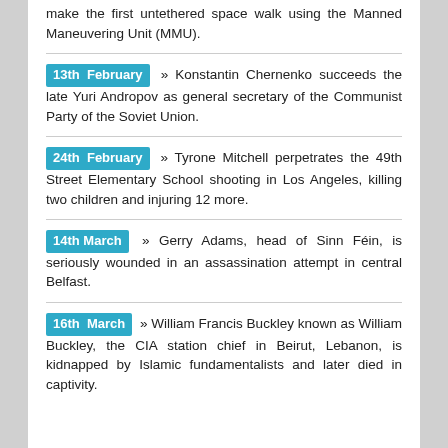make the first untethered space walk using the Manned Maneuvering Unit (MMU).
13th February » Konstantin Chernenko succeeds the late Yuri Andropov as general secretary of the Communist Party of the Soviet Union.
24th February » Tyrone Mitchell perpetrates the 49th Street Elementary School shooting in Los Angeles, killing two children and injuring 12 more.
14th March » Gerry Adams, head of Sinn Féin, is seriously wounded in an assassination attempt in central Belfast.
16th March » William Francis Buckley known as William Buckley, the CIA station chief in Beirut, Lebanon, is kidnapped by Islamic fundamentalists and later died in captivity.